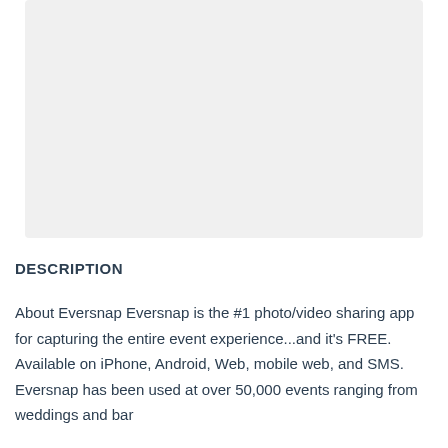[Figure (photo): Large light gray placeholder image area at the top of the page]
DESCRIPTION
About Eversnap Eversnap is the #1 photo/video sharing app for capturing the entire event experience...and it's FREE. Available on iPhone, Android, Web, mobile web, and SMS. Eversnap has been used at over 50,000 events ranging from weddings and bar